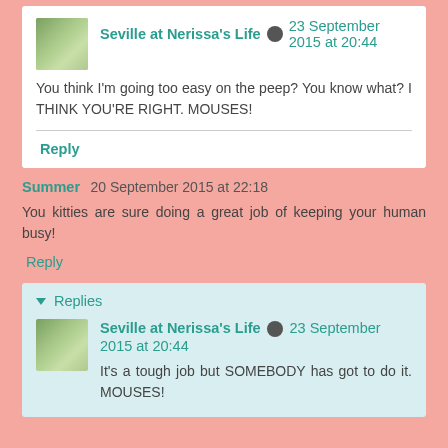Seville at Nerissa's Life 23 September 2015 at 20:44
You think I'm going too easy on the peep? You know what? I THINK YOU'RE RIGHT. MOUSES!
Reply
Summer 20 September 2015 at 22:18
You kitties are sure doing a great job of keeping your human busy!
Reply
Replies
Seville at Nerissa's Life 23 September 2015 at 20:44
It's a tough job but SOMEBODY has got to do it. MOUSES!